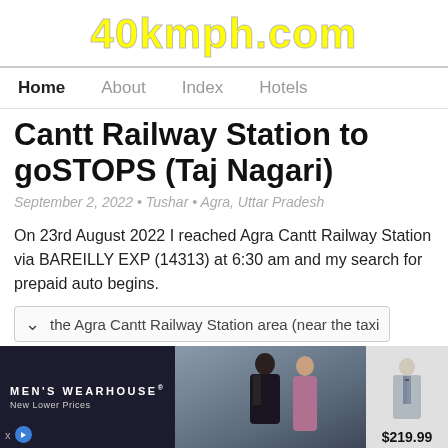40kmph.com
Home | About | Index | Hotels
Cantt Railway Station to goSTOPS (Taj Nagari)
September 2, 2022 • Tushar • Agra, Uttar Pradesh
On 23rd August 2022 I reached Agra Cantt Railway Station via BAREILLY EXP (14313) at 6:30 am and my search for prepaid auto begins.
the Agra Cantt Railway Station area (near the taxi
[Figure (photo): Advertisement banner for Men's Wearhouse showing a couple in formal wear and a suit priced at $219.99]